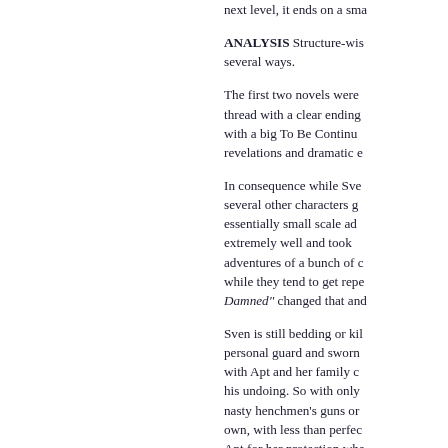next level, it ends on a sma...
ANALYSIS Structure-wis... several ways.
The first two novels were... thread with a clear ending... with a big To Be Continu... revelations and dramatic e...
In consequence while Sve... several other characters g... essentially small scale ad... extremely well and took... adventures of a bunch of c... while they tend to get repe... Damned" changed that and...
Sven is still bedding or kil... personal guard and sworn... with Apt and her family c... his undoing. So with only... nasty henchmen's guns or... own, with less than perfec... Apt for her protection whe...
And then there is Sven's o... die heroically on Hekati w...